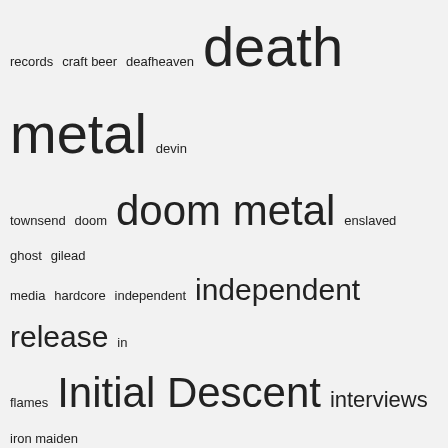[Figure (other): Tag cloud from a music/metal blog. Tags vary in font size indicating frequency/weight. Includes terms: records, craft beer, deafheaven, death metal, devin townsend, doom, doom metal, enslaved, ghost, gilead media, hardcore, independent, independent release, in flames, Initial Descent, interviews, iron maiden, lamb of god, mastodon, megadeth, metal, metal blade records, metallica, napalm records, new releases, Nine Circles ov..., nuclear blast, nuclear blast records, opeth, pelagic records, Playlists, podcast, post-metal, power metal, profile, profound lore, progressive metal, prosthetic records, rainbows in the dark, rammstein, Receiving the Evcharist, relapse records, season of mist, slayer, slipknot, sludge, sludge metal, tbt, the nine circles audio]